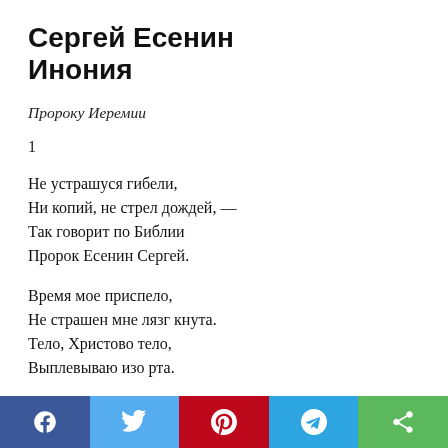Сергей Есенин
Инония
Пророку Иеремии
1
Не устрашуся гибели,
Ни копий, не стрел дождей, —
Так говорит по Библии
Пророк Есенин Сергей.
Время мое приспело,
Не страшен мне лязг кнута.
Тело, Христово тело,
Выплевываю изо рта.
И
[Figure (other): Social media sharing buttons bar: Facebook (blue), Twitter (light blue), Pinterest (red), Telegram (blue), Share (green)]